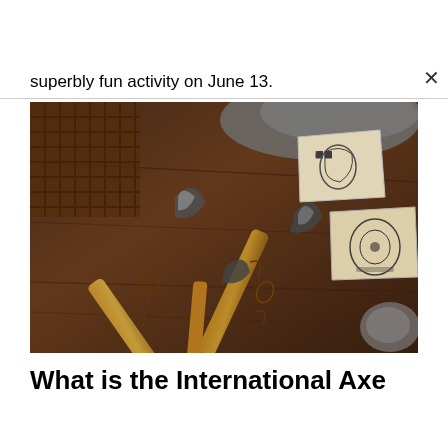superbly fun activity on June 13.
[Figure (photo): Several ornately decorated wooden-handled axes with carved designs laid crossed on a fur surface, alongside sketched drawings of axe designs on torn paper pieces. Rustic wooden background.]
What is the International Axe